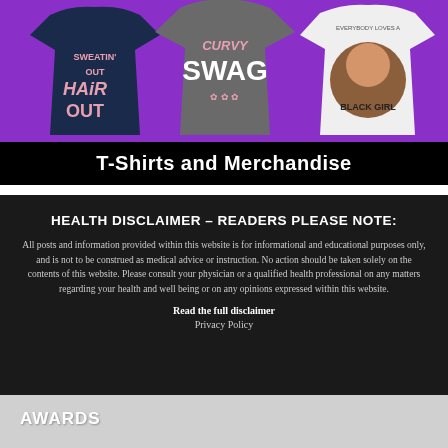[Figure (photo): Three t-shirts displayed against a purple background: left shirt is navy blue with 'SWEATIN' OUT HAiR OUT' in pink text, center shirt is gray with 'CURVY SWAG' in pink and white text, right shirt is white with 'EVERYBODY LOVES A BLACK GIRL' graphic. Banner text at bottom reads 'T-Shirts and Merchandise'.]
HEALTH DISCLAIMER – READERS PLEASE NOTE:
All posts and information provided within this website is for informational and educational purposes only, and is not to be construed as medical advice or instruction. No action should be taken solely on the contents of this website. Please consult your physician or a qualified health professional on any matters regarding your health and well being or on any opinions expressed within this website.
Read the full disclaimer
Privacy Policy
AWARDS